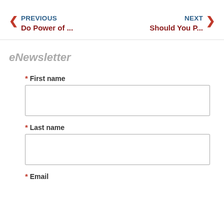< PREVIOUS  Do Power of ... | NEXT >  Should You P...
eNewsletter
* First name
* Last name
* Email